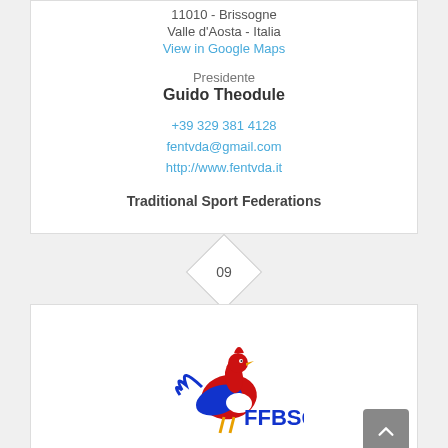11010 - Brissogne
Valle d'Aosta - Italia
View in Google Maps
Presidente
Guido Theodule
+39 329 381 4128
fentvda@gmail.com
http://www.fentvda.it
Traditional Sport Federations
09
[Figure (logo): FFBSQ logo with a rooster and French colors (red, white, blue)]